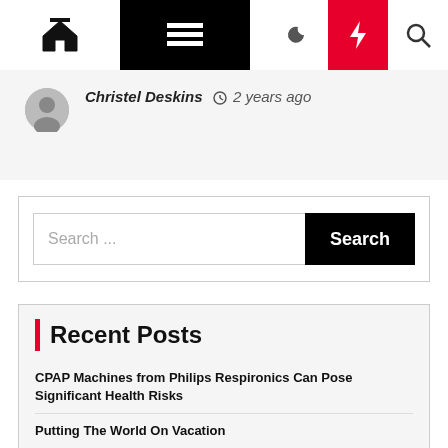Navigation bar with home, menu, moon, bolt, search icons
Christel Deskins  ⊙ 2 years ago
[Figure (screenshot): Search bar with text input placeholder 'Search ...' and a black 'Search' button]
Recent Posts
CPAP Machines from Philips Respironics Can Pose Significant Health Risks
Putting The World On Vacation
Pets Com Newest Excessive